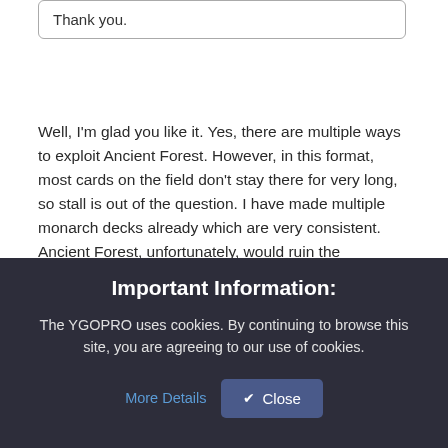Thank you.
Well, I'm glad you like it. Yes, there are multiple ways to exploit Ancient Forest. However, in this format, most cards on the field don't stay there for very long, so stall is out of the question. I have made multiple monarch decks already which are very consistent. Ancient Forest, unfortunately, would ruin the consistency of those decks. You're thinking of using
Important Information:
The YGOPRO uses cookies. By continuing to browse this site, you are agreeing to our use of cookies.
More Details
✓ Close